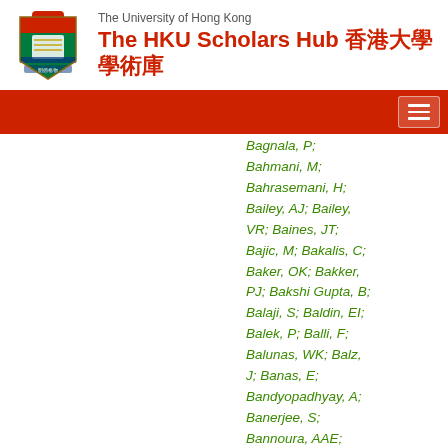The University of Hong Kong
The HKU Scholars Hub 香港大學學術庫
Bagnala, P; Bahmani, M; Bahrasemani, H; Bailey, AJ; Bailey, VR; Baines, JT; Bajic, M; Bakalis, C; Baker, OK; Bakker, PJ; Bakshi Gupta, B; Balaji, S; Baldin, EI; Balek, P; Balli, F; Balunas, WK; Balz, J; Banas, E; Bandyopadhyay, A; Banerjee, S; Bannoura, AAE; Barak, L; Barbe, WM; Barberio, EL; Barberis, D;